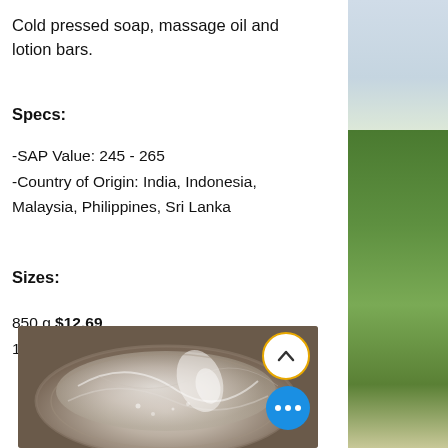Cold pressed soap, massage oil and lotion bars.
Specs:
-SAP Value: 245 - 265
-Country of Origin: India, Indonesia, Malaysia, Philippines, Sri Lanka
Sizes:
850 g $12.69
15 kg $148.99
[Figure (photo): Close-up photo of transparent/white soap or oil being poured into a bowl, with swirling patterns visible.]